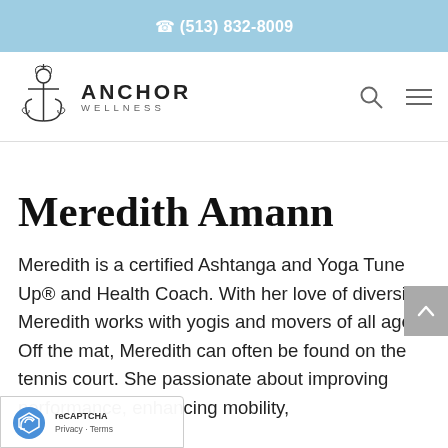(513) 832-8009
[Figure (logo): Anchor Wellness logo with anchor icon and text ANCHOR WELLNESS]
Meredith Amann
Meredith is a certified Ashtanga and Yoga Tune Up® and Health Coach. With her love of diversity, Meredith works with yogis and movers of all ages. Off the mat, Meredith can often be found on the tennis court. She passionate about improving performance, enhancing mobility,